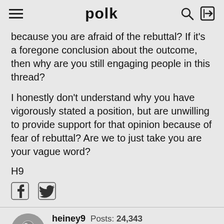polk
because you are afraid of the rebuttal? If it's a foregone conclusion about the outcome, then why are you still engaging people in this thread?
I honestly don't understand why you have vigorously stated a position, but are unwilling to provide support for that opinion because of fear of rebuttal? Are we to just take you are your vague word?
H9
heiney9  Posts: 24,343
July 2012  edited July 2012
Rutgar wrote: »